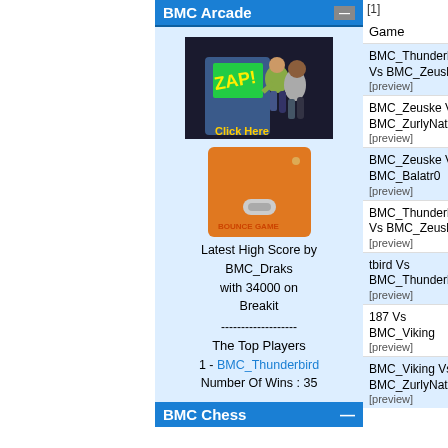BMC Arcade
[Figure (illustration): Arcade cabinet with two animated characters and 'ZAP!' text on screen, with 'Click Here' label below]
[Figure (illustration): Orange Bounce Game cartridge/box]
Latest High Score by BMC_Draks with 34000 on Breakit
-------------------
The Top Players
1 - BMC_Thunderbird
Number Of Wins : 35
BMC Chess
[1]
| Game | Status |
| --- | --- |
| BMC_Thunderbird Vs BMC_Zeuske [preview] | In Progress |
| BMC_Zeuske Vs BMC_ZurlyNation [preview] | In Progress |
| BMC_Zeuske Vs BMC_Balatr0 [preview] | In Progress |
| BMC_Thunderbird Vs BMC_Zeuske [preview] | In Progress |
| tbird Vs BMC_Thunderbird [preview] | In Progress |
| 187 Vs BMC_Viking [preview] | In Progress |
| BMC_Viking Vs BMC_ZurlyNation [preview] | In Progress |